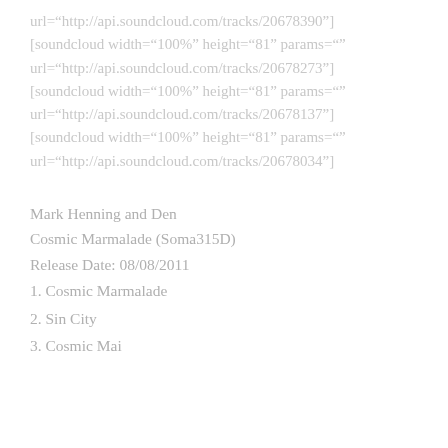url="http://api.soundcloud.com/tracks/20678390"] [soundcloud width="100%" height="81" params="" url="http://api.soundcloud.com/tracks/20678273"] [soundcloud width="100%" height="81" params="" url="http://api.soundcloud.com/tracks/20678137"] [soundcloud width="100%" height="81" params="" url="http://api.soundcloud.com/tracks/20678034"]
Mark Henning and Den
Cosmic Marmalade (Soma315D)
Release Date: 08/08/2011
1. Cosmic Marmalade
2. Sin City
3. Cosmic Mai...